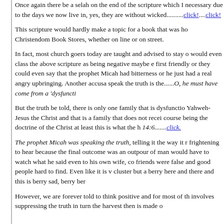Once again there be a selah on the end of the scripture which I necessary due to the days we now live in, yes, they are without wicked..........click!....click!
This scripture would hardly make a topic for a book that was ho Christendom Book Stores, whether on line or on street.
In fact, most church goers today are taught and advised to stay o would even class the above scripture as being negative maybe e first friendly or they could even say that the prophet Micah had bitterness or he just had a real angry upbringing. Another accusa speak the truth is the......O, he must have come from a 'dysfuncti
But the truth be told, there is only one family that is dysfunctio Yahweh-Jesus the Christ and that is a family that does not recei course being the doctrine of the Christ at least this is what the h 14:6.......click.
The prophet Micah was speaking the truth, telling it the way it r frightening to hear because the final outcome was an outpour of man would have to watch what he said even to his own wife, co friends were false and good people hard to find. Even like it is v cluster but a berry here and there and this is berry sad, berry ber
However, we are forever told to think positive and for most of th involves suppressing the truth in turn the harvest then is made o